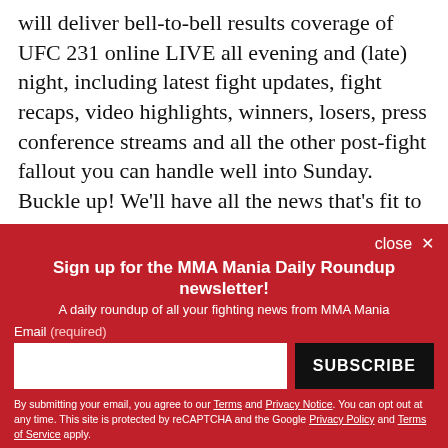will deliver bell-to-bell results coverage of UFC 231 online LIVE all evening and (late) night, including latest fight updates, fight recaps, video highlights, winners, losers, press conference streams and all the other post-fight fallout you can handle well into Sunday. Buckle up! We'll have all the news that's fit to print and much, much more. We've got UFC 231's entire card --
close ×
Sign up for the MMA Mania Daily Roundup newsletter!
A daily roundup of all your fighting news from MMA Mania
Email (required)
SUBSCRIBE
By submitting your email, you agree to our Terms and Privacy Notice. You can opt out at any time. This site is protected by reCAPTCHA and the Google Privacy Policy and Terms of Service apply.